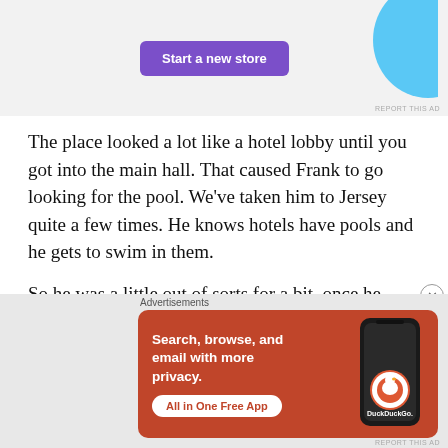[Figure (screenshot): Advertisement banner with 'Start a new store' purple button and light blue decorative shape on right, on a light grey background]
The place looked a lot like a hotel lobby until you got into the main hall. That caused Frank to go looking for the pool. We've taken him to Jersey quite a few times. He knows hotels have pools and he gets to swim in them.
So he was a little out of sorts for a bit, once he accepted our hard truth about the pool, or lack there-of.  He warmed up eventually, but AM was eyeballing the place from start to finish.
[Figure (screenshot): DuckDuckGo advertisement: orange background with white text 'Search, browse, and email with more privacy.' and 'All in One Free App' CTA button, phone mockup with DuckDuckGo logo]